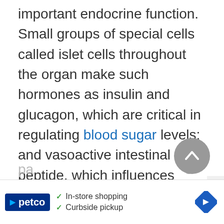important endocrine function. Small groups of special cells called islet cells throughout the organ make such hormones as insulin and glucagon, which are critical in regulating blood sugar levels; and vasoactive intestinal peptide, which influences gastrointestinal activity. These hormones are secreted directly into the bloodstream to affect organs all over the body. No organ except the
[Figure (other): Scroll-to-top button (circular grey button with upward chevron arrow)]
[Figure (other): Petco advertisement banner with logo, in-store shopping and curbside pickup checkmarks, and navigation arrow icon]